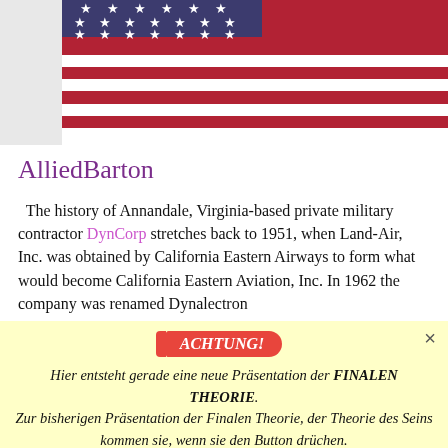[Figure (illustration): American flag (stars and stripes) partial view at top of page]
AlliedBarton
The history of Annandale, Virginia-based private military contractor DynCorp stretches back to 1951, when Land-Air, Inc. was obtained by California Eastern Airways to form what would become California Eastern Aviation, Inc. In 1962 the company was renamed Dynalectron
ACHTUNG!
Hier entsteht gerade eine neue Präsentation der FINALEN THEORIE. Zur bisherigen Präsentation der Finalen Theorie, der Theorie des Seins kommen sie, wenn sie den Button drüchen.
THEORIE DES SEINS